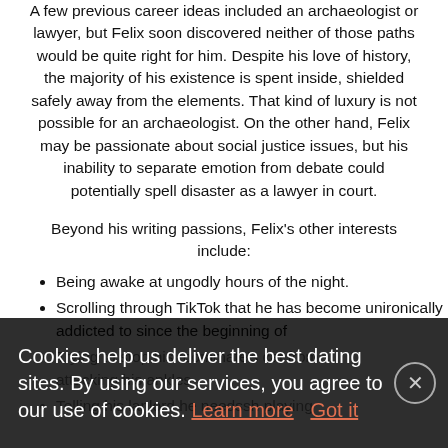A few previous career ideas included an archaeologist or lawyer, but Felix soon discovered neither of those paths would be quite right for him. Despite his love of history, the majority of his existence is spent inside, shielded safely away from the elements. That kind of luxury is not possible for an archaeologist. On the other hand, Felix may be passionate about social justice issues, but his inability to separate emotion from debate could potentially spell disaster as a lawyer in court.
Beyond his writing passions, Felix's other interests include:
Being awake at ungodly hours of the night.
Scrolling through TikTok that he has become unironically addicted to since the beginning of
Trying to stop his roommate's cat from attacking his ankles.
Telling his landlord he needs sh playing
Cookies help us deliver the best dating sites. By using our services, you agree to our use of cookies. Learn more   Got it